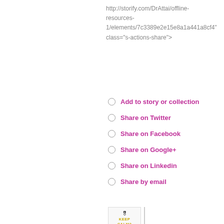http://storify.com/DrAttai/offline-resources-1/elements/7c3389e2e15e8a1a441a8cf4" class="s-actions-share">
Add to story or collection
Share on Twitter
Share on Facebook
Share on Google+
Share on Linkedin
Share by email
[Figure (illustration): Keep Calm? Hurry Hurry image with crown icon, next to a vertical divider bar]
J Bronco Pete@Jpete008
A1. Also physical therapy helped, mentally felt good to get a little